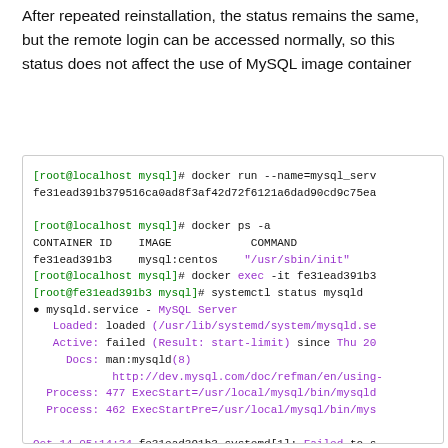After repeated reinstallation, the status remains the same, but the remote login can be accessed normally, so this status does not affect the use of MySQL image container
[Figure (screenshot): Terminal screenshot showing docker run, docker ps -a, docker exec, and systemctl status mysqld commands with output showing mysqld.service failed with start-limit, loaded path, active failed, docs, process entries, and a log line starting with Oct 14 05:14:34]